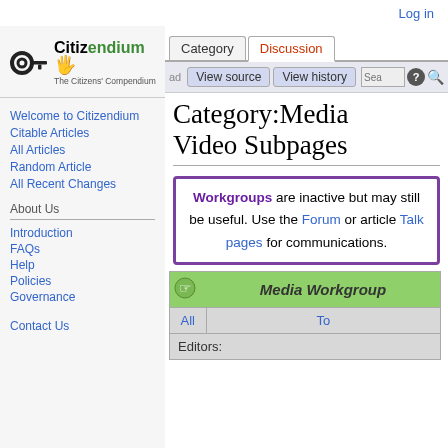Log in
[Figure (logo): Citizendium logo - The Citizens' Compendium]
Welcome to Citizendium
Citable Articles
All Articles
Random Article
All Recent Changes
About Us
Introduction
FAQs
Help
Policies
Governance
Contact Us
Category:Media Video Subpages
Workgroups are inactive but may still be useful. Use the Forum or article Talk pages for communications.
|  | Media Workgroup |
| --- | --- |
|  | All | To | Editors: |